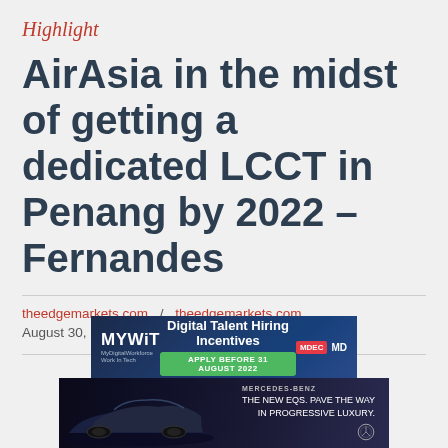Highlight
AirAsia in the midst of getting a dedicated LCCT in Penang by 2022 – Fernandes
theedgemarkets.com  /  theedgemarkets.com
August 30, 2018 20:58 pm +08
[Figure (photo): MYWiT Digital Talent Hiring Incentives advertisement banner (dark blue background) with APPLY BEFORE 31 AUGUST 2022 button]
[Figure (photo): Mercedes-Benz EQS car advertisement with tagline THE NEW EQS. PAVE THE WAY IN PROGRESSIVE LUXURY.]